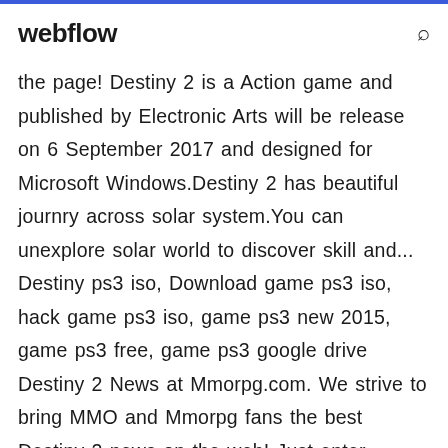webflow
the page! Destiny 2 is a Action game and published by Electronic Arts will be release on 6 September 2017 and designed for Microsoft Windows.Destiny 2 has beautiful journry across solar system.You can unexplore solar world to discover skill and... Destiny ps3 iso, Download game ps3 iso, hack game ps3 iso, game ps3 new 2015, game ps3 free, game ps3 google drive Destiny 2 News at Mmorpg.com. We strive to bring MMO and Mmorpg fans the best Destiny 2 news on the web! Just enter Destiny 2 Download in your browser to see how amazing title it is and how many interesting nights are waiting for you with this game! While releasing the continuation on the market, Activision